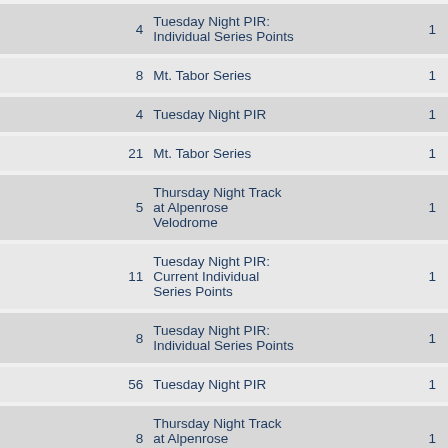| # | Name | Count |
| --- | --- | --- |
| 4 | Tuesday Night PIR: Individual Series Points | 1 |
| 8 | Mt. Tabor Series | 1 |
| 4 | Tuesday Night PIR | 1 |
| 21 | Mt. Tabor Series | 1 |
| 5 | Thursday Night Track at Alpenrose Velodrome | 1 |
| 11 | Tuesday Night PIR: Current Individual Series Points | 1 |
| 8 | Tuesday Night PIR: Individual Series Points | 1 |
| 56 | Tuesday Night PIR | 1 |
| 8 | Thursday Night Track at Alpenrose Velodrome | 1 |
| 10 | Thursday Night Track at Alpenrose Velodrome: TNT: July Series Points | 1 |